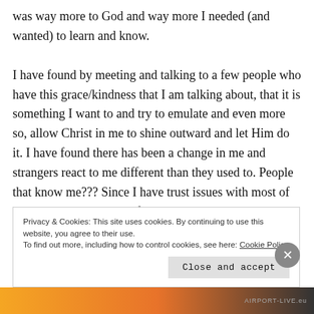was way more to God and way more I needed (and wanted) to learn and know.

I have found by meeting and talking to a few people who have this grace/kindness that I am talking about, that it is something I want to and try to emulate and even more so, allow Christ in me to shine outward and let Him do it. I have found there has been a change in me and strangers react to me different than they used to. People that know me??? Since I have trust issues with most of them, I don't see much of them anymore.
Privacy & Cookies: This site uses cookies. By continuing to use this website, you agree to their use.
To find out more, including how to control cookies, see here: Cookie Policy
Close and accept